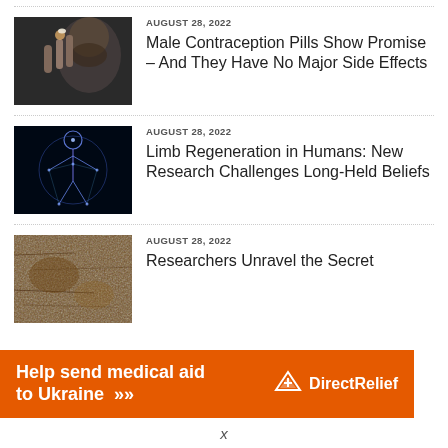[Figure (photo): Man holding a small pill between fingers, dark background]
AUGUST 28, 2022
Male Contraception Pills Show Promise – And They Have No Major Side Effects
[Figure (illustration): Vitruvian man style human anatomy diagram with glowing blue network lines on dark background]
AUGUST 28, 2022
Limb Regeneration in Humans: New Research Challenges Long-Held Beliefs
[Figure (photo): Close-up of ancient rock or fossil surface]
AUGUST 28, 2022
Researchers Unravel the Secret
[Figure (other): Banner ad: Help send medical aid to Ukraine >> DirectRelief logo]